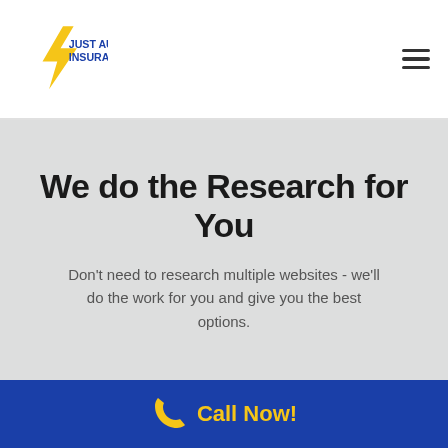Just Auto Insurance
We do the Research for You
Don't need to research multiple websites - we'll do the work for you and give you the best options.
Call Now!